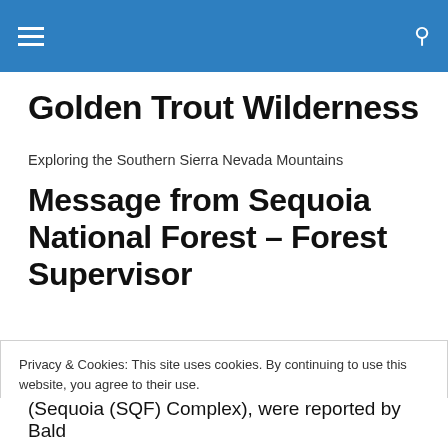Golden Trout Wilderness
Exploring the Southern Sierra Nevada Mountains
Message from Sequoia National Forest – Forest Supervisor
Privacy & Cookies: This site uses cookies. By continuing to use this website, you agree to their use.
To find out more, including how to control cookies, see here: Cookie Policy
Close and accept
(Sequoia (SQF) Complex), were reported by Bald